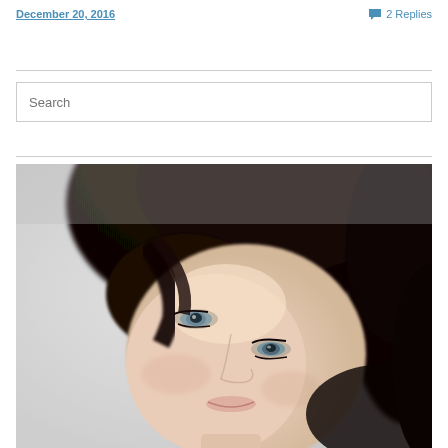December 20, 2016   2 Replies
[Figure (photo): Close-up portrait of a woman with short dark hair and blue/grey eyes, looking slightly upward, light grey background, artistic soft-focus photography style]